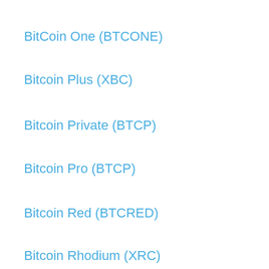BitCoin One (BTCONE)
Bitcoin Plus (XBC)
Bitcoin Private (BTCP)
Bitcoin Pro (BTCP)
Bitcoin Red (BTCRED)
Bitcoin Rhodium (XRC)